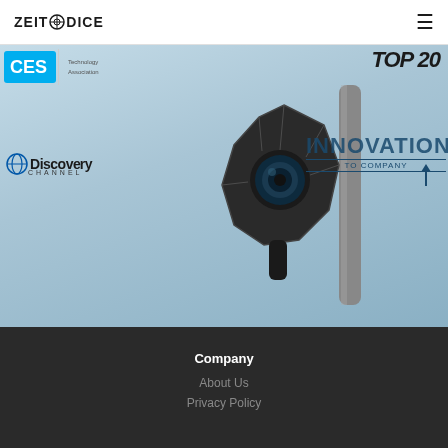ZEITODICE navigation header with logo and hamburger menu
[Figure (screenshot): Hero banner showing a dark multifaceted camera device mounted on a pole against a light blue sky background, overlaid with logos: CES Technology Association, TOP 20, Discovery Channel, and INNOVATION TO COMPANY text]
Company
About Us
Privacy Policy